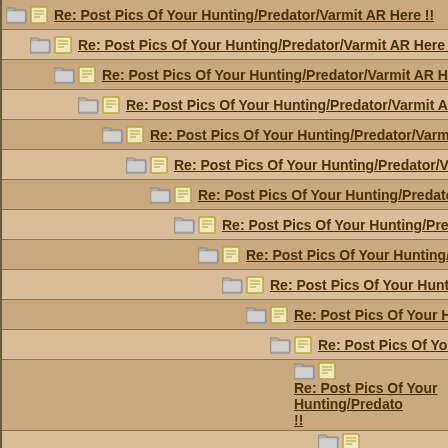Re: Post Pics Of Your Hunting/Predator/Varmit AR Here !!
Re: Post Pics Of Your Hunting/Predator/Varmit AR Here !!
Re: Post Pics Of Your Hunting/Predator/Varmit AR Here !!
Re: Post Pics Of Your Hunting/Predator/Varmit AR Here !!
Re: Post Pics Of Your Hunting/Predator/Varmit AR Here !!
Re: Post Pics Of Your Hunting/Predator/Varmit AR Here !!
Re: Post Pics Of Your Hunting/Predator/Varmit AR He
Re: Post Pics Of Your Hunting/Predator/Varmit AR H
Re: Post Pics Of Your Hunting/Predator/Varmit AR
Re: Post Pics Of Your Hunting/Predator/Varmit
Re: Post Pics Of Your Hunting/Predator/Varm
Re: Post Pics Of Your Hunting/Predator/Va
Re: Post Pics Of Your Hunting/Predator/
Re: Post Pics Of Your Hunting/Predato !!
Re: Post Pics Of Your Hunting/Preda Here !!
Re: Post Pics Of Your Hunting/Predator/
Re: Post Pics Of Your Hunting/Predato !!